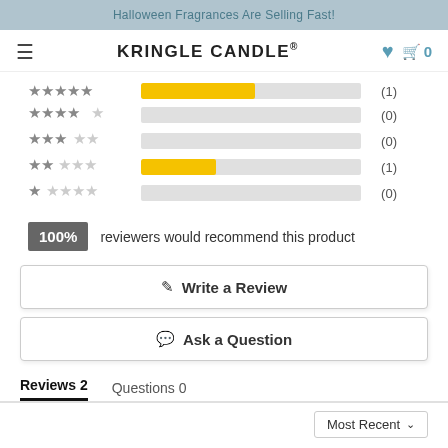Halloween Fragrances Are Selling Fast!
KRINGLE CANDLE®
[Figure (bar-chart): Star rating distribution]
100% reviewers would recommend this product
✏ Write a Review
💬 Ask a Question
Reviews 2   Questions 0
Most Recent